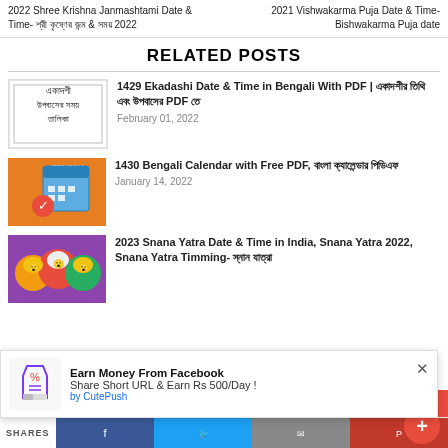2022 Shree Krishna Janmashtami Date & Time- শ্রী কৃষ্ণের জন্ম & সময় 2022
2021 Vishwakarma Puja Date & Time- Bishwakarma Puja date
RELATED POSTS
[Figure (photo): Ekadashi thumbnail with Bengali text: একাদশী উপবাসের সময় তালিকা]
1429 Ekadashi Date & Time in Bengali With PDF | একাদশীর তিথি এবং উপবাসের PDF তে
February 01, 2022
[Figure (photo): Bengali Calendar thumbnail with calendar icon on orange background]
1430 Bengali Calendar with Free PDF, বাংলা ক্যালেন্ডার পিডিএফ
January 14, 2022
[Figure (photo): Snana Yatra thumbnail with colorful deity images]
2023 Snana Yatra Date & Time in India, Snana Yatra 2022, Snana Yatra Timming- স্নান যাত্রা
Earn Money From Facebook
Share Short URL & Earn Rs 500/Day !
by CutePush
SHARES